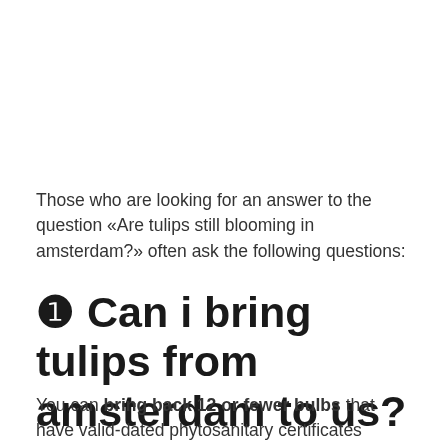Those who are looking for an answer to the question «Are tulips still blooming in amsterdam?» often ask the following questions:
❶ Can i bring tulips from amsterdam to us?
You can bring back 12 or fewer bulbs that have valid-dated phytosanitary certificates without a permit. If you want a whole suitcase full of bulbs,